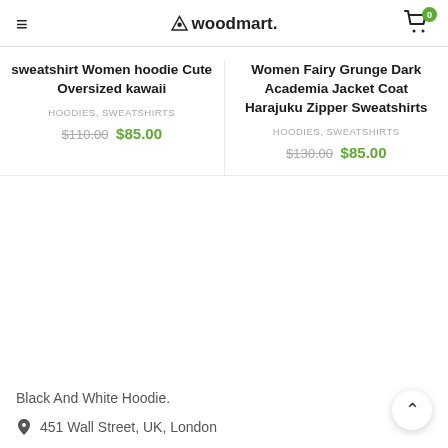woodmart. — navigation header with hamburger menu and cart (0 items)
sweatshirt Women hoodie Cute Oversized kawaii
HOODIES, SWEATSHIRTS
$110.00 $85.00
Women Fairy Grunge Dark Academia Jacket Coat Harajuku Zipper Sweatshirts
HOODIES, SWEATSHIRTS
$130.00 $85.00
Black And White Hoodie.
451 Wall Street, UK, London